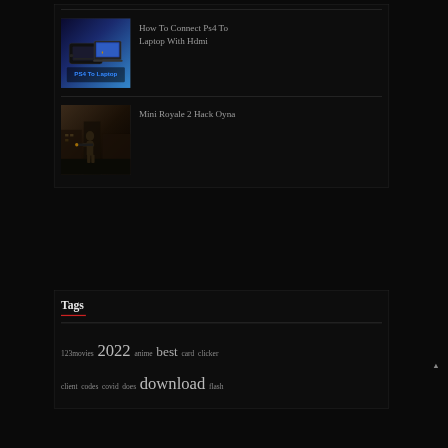[Figure (screenshot): Thumbnail image of a PS4 connected to a laptop via HDMI, dark blue background with text 'PS4 To Laptop']
How To Connect Ps4 To Laptop With Hdmi
[Figure (screenshot): Thumbnail image from Mini Royale 2 game showing a character with a weapon in a dark urban environment]
Mini Royale 2 Hack Oyna
Tags
123movies 2022 anime best card clicker client codes covid does download flash